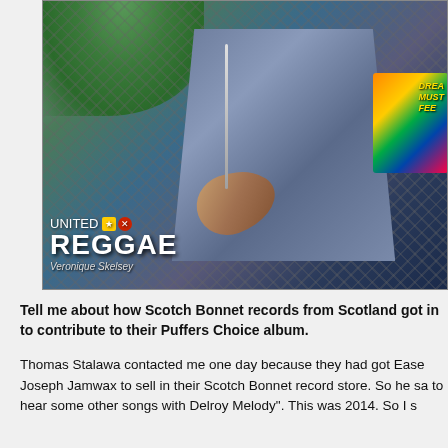[Figure (photo): A man in a studded denim jacket and black NES t-shirt with silver chain necklace, pointing at camera near a chain-link fence. He holds a CD. United Reggae logo and 'Veronique Skelsey' photo credit are overlaid on the bottom left.]
Tell me about how Scotch Bonnet records from Scotland got in to contribute to their Puffers Choice album.
Thomas Stalawa contacted me one day because they had got Ease Joseph Jamwax to sell in their Scotch Bonnet record store. So he sa to hear some other songs with Delroy Melody". This was 2014. So I s